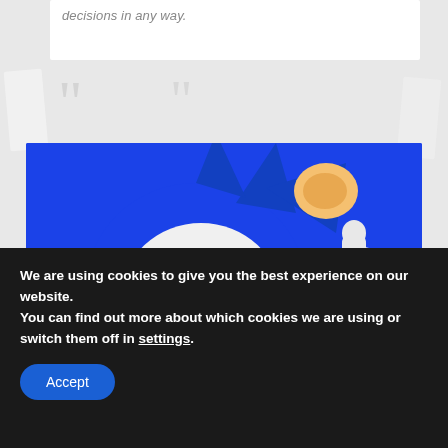decisions in any way.
[Figure (illustration): Sonic the Hedgehog character close-up illustration on blue background, showing face and raised index finger]
XXOLDVIDEO
We are using cookies to give you the best experience on our website.
You can find out more about which cookies we are using or switch them off in settings.
Accept